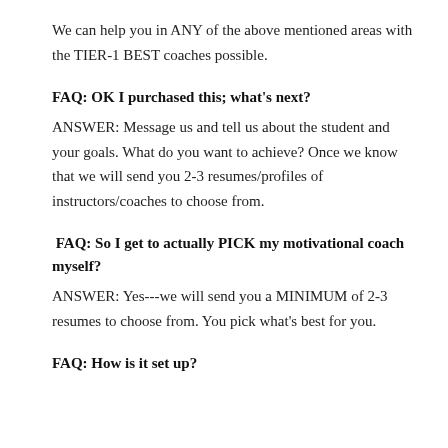We can help you in ANY of the above mentioned areas with the TIER-1 BEST coaches possible.
FAQ: OK I purchased this; what's next?
ANSWER: Message us and tell us about the student and your goals. What do you want to achieve? Once we know that we will send you 2-3 resumes/profiles of instructors/coaches to choose from.
FAQ: So I get to actually PICK my motivational coach myself?
ANSWER: Yes---we will send you a MINIMUM of 2-3 resumes to choose from. You pick what's best for you.
FAQ: How is it set up?